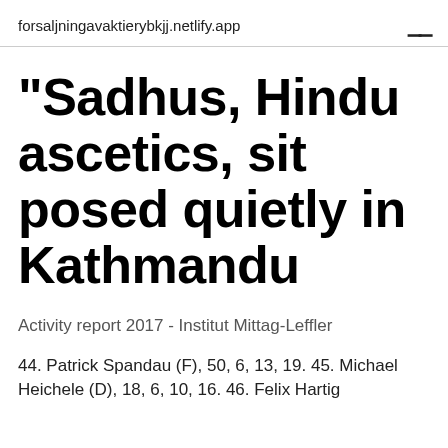forsaljningavaktierybkjj.netlify.app
"Sadhus, Hindu ascetics, sit posed quietly in Kathmandu
Activity report 2017 - Institut Mittag-Leffler
44. Patrick Spandau (F), 50, 6, 13, 19. 45. Michael Heichele (D), 18, 6, 10, 16. 46. Felix Hartig